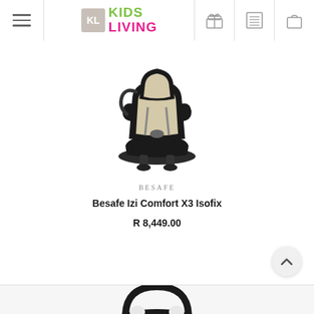Kids Living - navigation header with hamburger menu, logo, gift icon, list icon, bag icon
[Figure (photo): Besafe Izi Comfort X3 Isofix car seat in beige and black, shown from the side angle]
BESAFE
Besafe Izi Comfort X3 Isofix
R 8,449.00
[Figure (photo): Partial view of a black infant car seat carrier with handle, showing top portion]